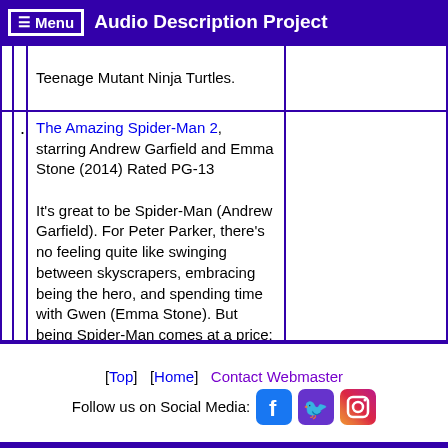≡ Menu  Audio Description Project
Teenage Mutant Ninja Turtles.
The Amazing Spider-Man 2, starring Andrew Garfield and Emma Stone (2014) Rated PG-13

It's great to be Spider-Man (Andrew Garfield). For Peter Parker, there's no feeling quite like swinging between skyscrapers, embracing being the hero, and spending time with Gwen (Emma Stone). But being Spider-Man comes at a price: only Spider-Man can protect his fellow New Yorkers from the formidable villains that threaten the city. With the
[Top]  [Home]  Contact Webmaster
Follow us on Social Media: